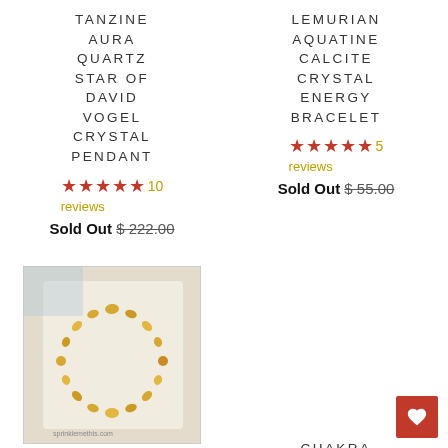TANZINE AURA QUARTZ STAR OF DAVID VOGEL CRYSTAL PENDANT
★★★★★ 10 reviews
Sold Out $ 222.00
LEMURIAN AQUATINE CALCITE CRYSTAL ENERGY BRACELET
★★★★★ 5 reviews
Sold Out $ 55.00
[Figure (photo): Citrine quartz bracelet made of yellow-orange faceted chips on a white cloth background]
CITRINE QUARTZ
CHAKRA STONES